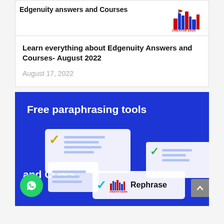[Figure (screenshot): Article card showing title 'Edgenuity answers and Courses' with Creative Savants logo in top right corner]
Learn everything about Edgenuity Answers and Courses- August 2022
August 17, 2022
[Figure (infographic): Blue infographic image for 'Free paraphrasing tools and CONS' with checkboxes and Rephrase text, Creative Savants logo, and WhatsApp button]